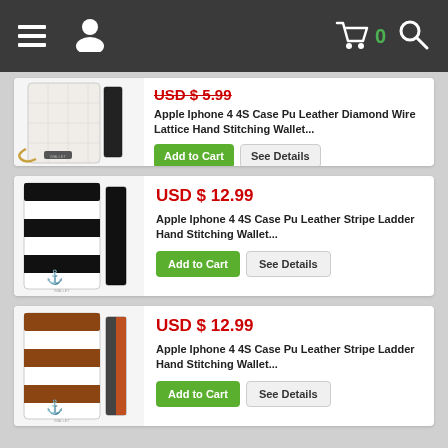Navigation bar with menu, user, cart (0), and search icons
[Figure (screenshot): Product card 1: White quilted leather wallet case with gold chain for iPhone 4 4S, partially visible with price struck through]
USD $ 5.99 (strikethrough)
Apple Iphone 4 4S Case Pu Leather Diamond Wire Lattice Hand Stitching Wallet...
[Figure (screenshot): Product card 2: Black and white striped nautical anchor wallet case for iPhone 4 4S, USD $ 12.99]
USD $ 12.99
Apple Iphone 4 4S Case Pu Leather Stripe Ladder Hand Stitching Wallet...
[Figure (screenshot): Product card 3: Brown and white striped nautical anchor wallet case for iPhone 4 4S, USD $ 12.99]
USD $ 12.99
Apple Iphone 4 4S Case Pu Leather Stripe Ladder Hand Stitching Wallet...